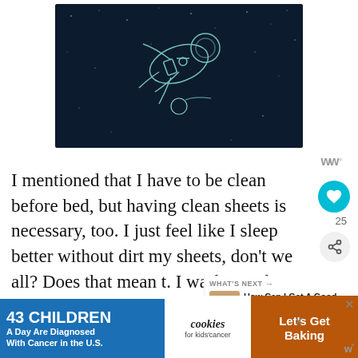[Figure (illustration): Dark space illustration showing an astronaut floating in space with stars and a planet/comet in the background, white line art on dark navy background]
I mentioned that I have to be clean before bed, but having clean sheets is necessary, too. I just feel like I sleep better without dirt my sheets, don't we all? Does that mean t. I wash our sheets every day? Um. has time for that?! But, if my kids ever come in too late to have a bath, I am washing their s
[Figure (infographic): Advertisement banner: '43 CHILDREN A Day Are Diagnosed With Cancer in the U.S.' with cookies for kids' cancer logo and 'Let's Get Baking' call to action on orange background]